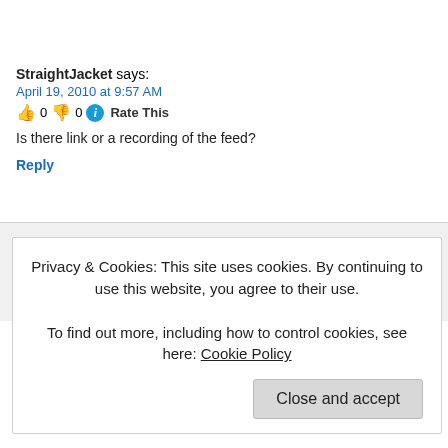StraightJacket says:
April 19, 2010 at 9:57 AM
👍 0 👎 0 ℹ Rate This
Is there link or a recording of the feed?
Reply
roy says:
April 19, 2010 at 11:49 AM
👍 0 👎 0 ℹ Rate This
How did the event do financially though? It would be great to hear that
Privacy & Cookies: This site uses cookies. By continuing to use this website, you agree to their use.
To find out more, including how to control cookies, see here: Cookie Policy
Close and accept